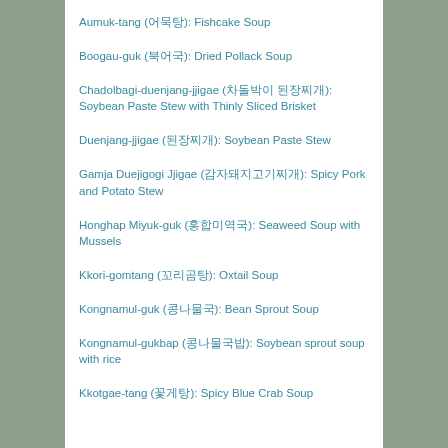Aumuk-tang (어묵탕): Fishcake Soup
Boogau-guk (북어국): Dried Pollack Soup
Chadolbagi-duenjang-jjigae (차돌박이 된장찌개): Soybean Paste Stew with Thinly Sliced Brisket
Duenjang-jjigae (된장찌개): Soybean Paste Stew
Gamja Duejigogi Jjigae (감자돼지고기찌개): Spicy Pork and Potato Stew
Honghap Miyuk-guk (홍합미역국): Seaweed Soup with Mussels
Kkori-gomtang (꼬리곰탕): Oxtail Soup
Kongnamul-guk (콩나물국): Bean Sprout Soup
Kongnamul-gukbap (콩나물국밥): Soybean sprout soup with rice
Kkotgae-tang (꽃게탕): Spicy Blue Crab Soup